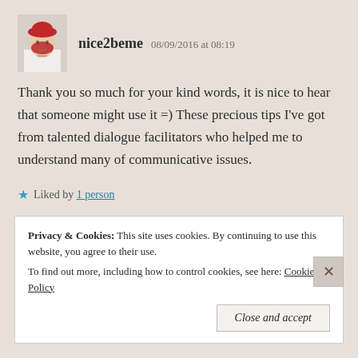[Figure (photo): Avatar photo of a woman wearing a red hat, shown from shoulders up]
nice2beme   08/09/2016 at 08:19
Thank you so much for your kind words, it is nice to hear that someone might use it =) These precious tips I've got from talented dialogue facilitators who helped me to understand many of communicative issues.
★ Liked by 1 person
Reply
Privacy & Cookies: This site uses cookies. By continuing to use this website, you agree to their use. To find out more, including how to control cookies, see here: Cookie Policy
Close and accept